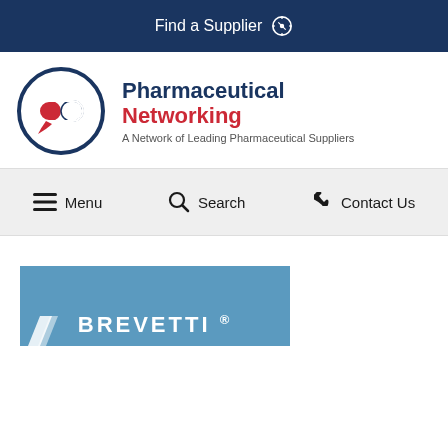Find a Supplier
[Figure (logo): Pharmaceutical Networking logo — circle with red capsule/chat icon and dark navy text 'Pharmaceutical Networking', subtitle 'A Network of Leading Pharmaceutical Suppliers']
Menu  Search  Contact Us
[Figure (logo): Brevetti blue rectangular logo with white text 'BREVETTI' and registered trademark symbol]